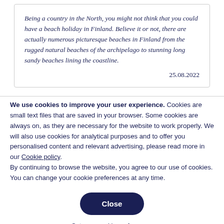Being a country in the North, you might not think that you could have a beach holiday in Finland. Believe it or not, there are actually numerous picturesque beaches in Finland from the rugged natural beaches of the archipelago to stunning long sandy beaches lining the coastline.

25.08.2022
We use cookies to improve your user experience. Cookies are small text files that are saved in your browser. Some cookies are always on, as they are necessary for the website to work properly. We will also use cookies for analytical purposes and to offer you personalised content and relevant advertising, please read more in our Cookie policy.
By continuing to browse the website, you agree to our use of cookies. You can change your cookie preferences at any time.
Close
Set your cookie preferences